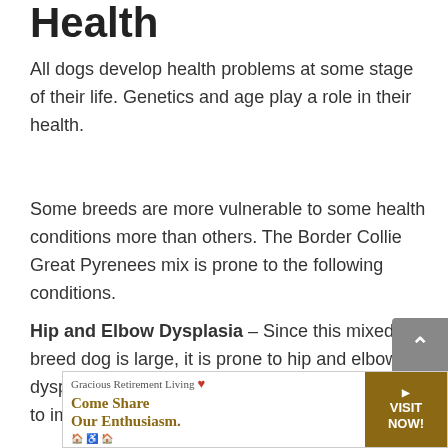Health
All dogs develop health problems at some stage of their life. Genetics and age play a role in their health.
Some breeds are more vulnerable to some health conditions more than others. The Border Collie Great Pyrenees mix is prone to the following conditions.
Hip and Elbow Dysplasia – Since this mixed breed dog is large, it is prone to hip and elbow dysplasia. This medical condition is caused due to improper fitting of the ball in the joints which
[Figure (other): Advertisement banner for Gracious Retirement Living with tagline 'Come Share Our Enthusiasm.' and a gold 'VISIT NOW!' call-to-action button.]